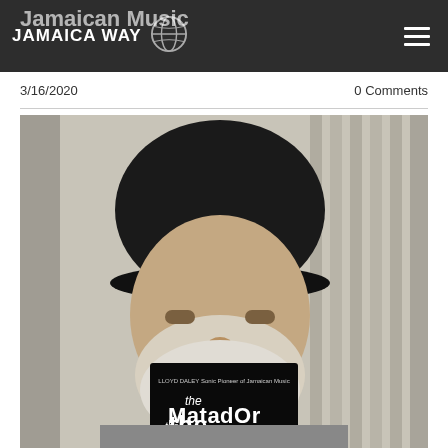JAMAICA WAY
Jamaican Music
3/16/2020
0 Comments
[Figure (photo): An elderly man with white hair and beard wearing a dark flat cap, holding up a black book titled 'the Matador' by Lloyd Daley, Sonic Pioneer of Jamaican Music, covering the lower half of his face.]